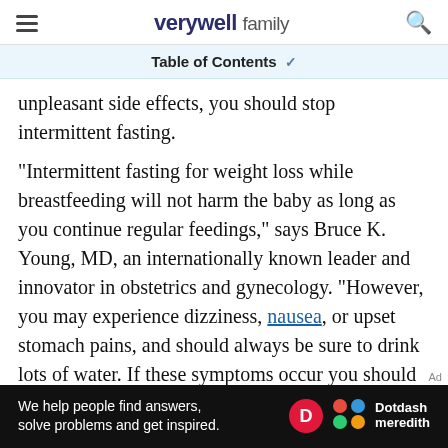verywell family
Table of Contents
unpleasant side effects, you should stop intermittent fasting.
"Intermittent fasting for weight loss while breastfeeding will not harm the baby as long as you continue regular feedings," says Bruce K. Young, MD, an internationally known leader and innovator in obstetrics and gynecology. "However, you may experience dizziness, nausea, or upset stomach pains, and should always be sure to drink lots of water. If these symptoms occur you should stop the fasting."
[Figure (other): Dotdash Meredith advertisement banner: 'We help people find answers, solve problems and get inspired.']